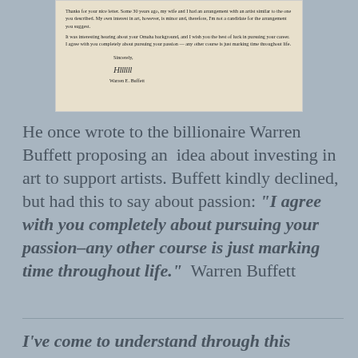[Figure (photo): A photograph of a letter signed by Warren E. Buffett. The letter text reads: 'Thanks for your nice letter. Some 30 years ago, my wife and I had an arrangement with an artist similar to the one you described. My own interest in art, however, is minor and, therefore, I'm not a candidate for the arrangement you suggest. It was interesting hearing about your Omaha background, and I wish you the best of luck in pursuing your career. I agree with you completely about pursuing your passion — any other course is just marking time throughout life. Sincerely, [signature] Warren E. Buffett']
He once wrote to the billionaire Warren Buffett proposing an idea about investing in art to support artists. Buffett kindly declined, but had this to say about passion: "I agree with you completely about pursuing your passion–any other course is just marking time throughout life." Warren Buffett
I've come to understand through this